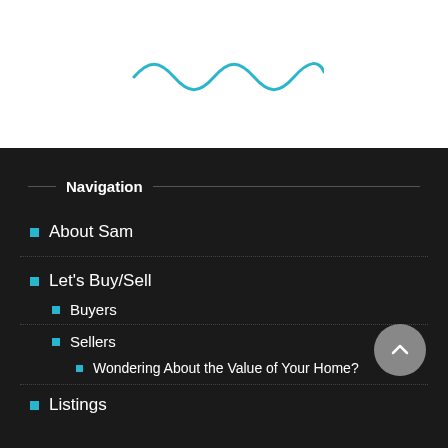[Figure (illustration): Teal/cyan wavy decorative line logo at top center of page on white background]
Navigation
About Sam
Let's Buy/Sell
Buyers
Sellers
Wondering About the Value of Your Home?
Listings